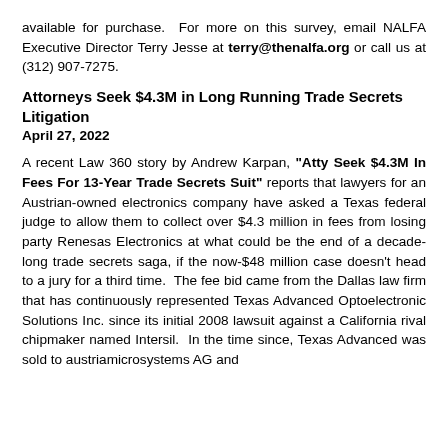available for purchase. For more on this survey, email NALFA Executive Director Terry Jesse at terry@thenalfa.org or call us at (312) 907-7275.
Attorneys Seek $4.3M in Long Running Trade Secrets Litigation
April 27, 2022
A recent Law 360 story by Andrew Karpan, “Atty Seek $4.3M In Fees For 13-Year Trade Secrets Suit” reports that lawyers for an Austrian-owned electronics company have asked a Texas federal judge to allow them to collect over $4.3 million in fees from losing party Renesas Electronics at what could be the end of a decade-long trade secrets saga, if the now-$48 million case doesn't head to a jury for a third time. The fee bid came from the Dallas law firm that has continuously represented Texas Advanced Optoelectronic Solutions Inc. since its initial 2008 lawsuit against a California rival chipmaker named Intersil. In the time since, Texas Advanced was sold to austriamicrosystems AG and renamed AMS Sensors USA, but stitching a decades-old